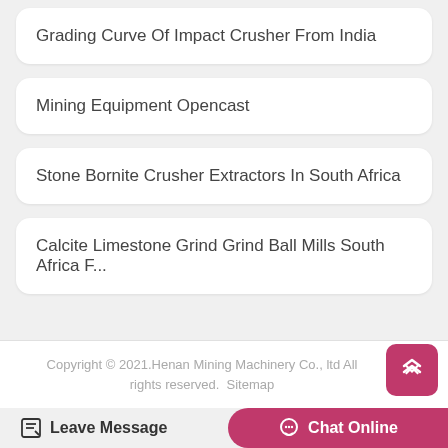Grading Curve Of Impact Crusher From India
Mining Equipment Opencast
Stone Bornite Crusher Extractors In South Africa
Calcite Limestone Grind Grind Ball Mills South Africa F...
Copyright © 2021.Henan Mining Machinery Co., ltd All rights reserved.  Sitemap